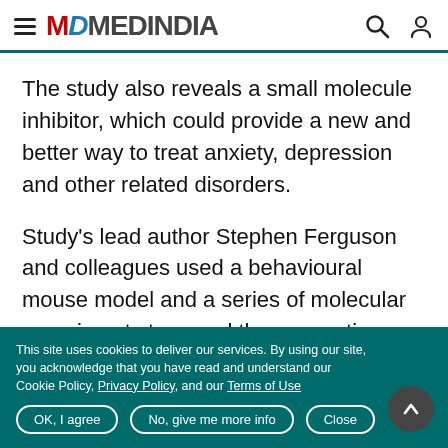MEDINDIA
The study also reveals a small molecule inhibitor, which could provide a new and better way to treat anxiety, depression and other related disorders.
Study's lead author Stephen Ferguson and colleagues used a behavioural mouse model and a series of molecular experiments to reveal the connection
This site uses cookies to deliver our services. By using our site, you acknowledge that you have read and understand our Cookie Policy, Privacy Policy, and our Terms of Use